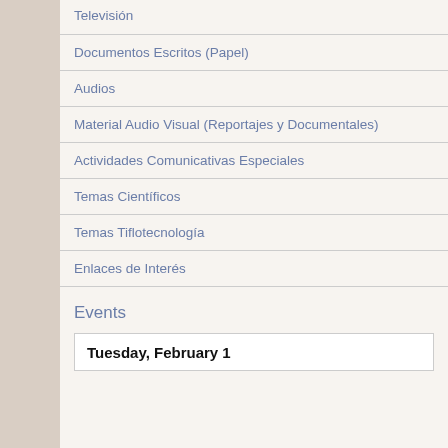Televisión
Documentos Escritos (Papel)
Audios
Material Audio Visual (Reportajes y Documentales)
Actividades Comunicativas Especiales
Temas Científicos
Temas Tiflotecnología
Enlaces de Interés
Events
Tuesday, February 1